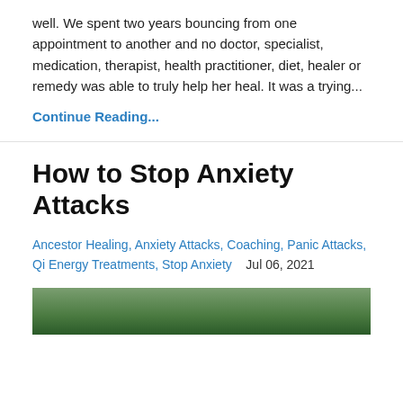well. We spent two years bouncing from one appointment to another and no doctor, specialist, medication, therapist, health practitioner, diet, healer or remedy was able to truly help her heal. It was a trying...
Continue Reading...
How to Stop Anxiety Attacks
Ancestor Healing, Anxiety Attacks, Coaching, Panic Attacks, Qi Energy Treatments, Stop Anxiety   Jul 06, 2021
[Figure (photo): Partial photo of a person outdoors, partially visible at the bottom of the page]